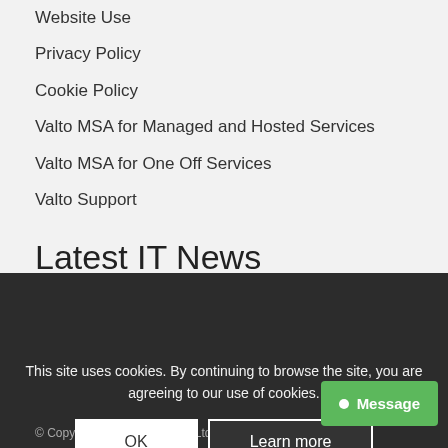Website Use
Privacy Policy
Cookie Policy
Valto MSA for Managed and Hosted Services
Valto MSA for One Off Services
Valto Support
Latest IT News
Business Development Manager Role
How to build a SharePoint Knowledge Base
Microsoft Inspire 2022 – Key Announcements
Planning your Security Compliance with Microsoft Purview…
This site uses cookies. By continuing to browse the site, you are agreeing to our use of cookies.
© Copyright Valto IT Services Ltd. Company no…